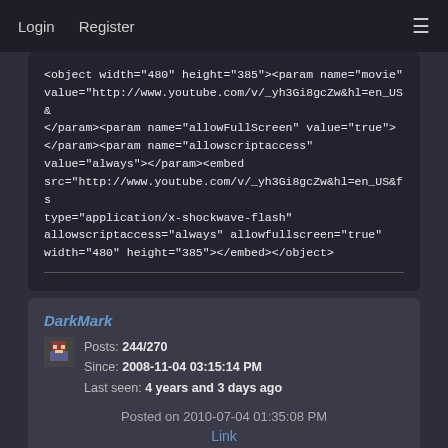Login   Register
<object width="480" height="385"><param name="movie" value="http://www.youtube.com/v/_yh3Gi8gcZw&hl=en_US& </param><param name="allowFullScreen" value="true"> </param><param name="allowscriptaccess" value="always"></param><embed src="http://www.youtube.com/v/_yh3Gi8gcZw&hl=en_US&fs type="application/x-shockwave-flash" allowscriptaccess="always" allowfullscreen="true" width="480" height="385"></embed></object>
DarkMark
Posts: 244/270
Since: 2008-11-04 03:15:14 PM
Last seen: 4 years and 3 days ago
Posted on 2010-07-04 01:35:08 PM
Link